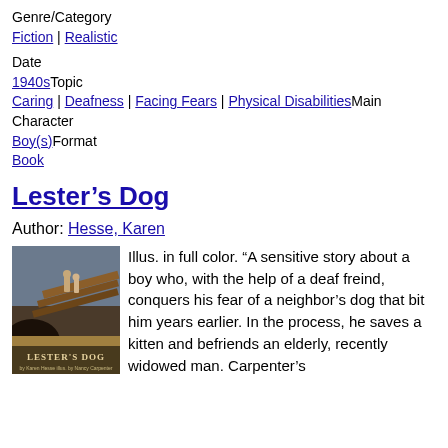Genre/Category
Fiction | Realistic
Date
1940s Topic
Caring | Deafness | Facing Fears | Physical Disabilities Main Character
Boy(s) Format
Book
Lester's Dog
Author: Hesse, Karen
[Figure (photo): Book cover of Lester's Dog by Karen Hesse, illustrated by Nancy Carpenter. Shows two children standing on a wooden structure with a large dog visible. Title text reads LESTER'S DOG by Karen Hesse, illustrated by Nancy Carpenter.]
Illus. in full color. “A sensitive story about a boy who, with the help of a deaf freind, conquers his fear of a neighbor’s dog that bit him years earlier. In the process, he saves a kitten and befriends an elderly, recently widowed man. Carpenter’s